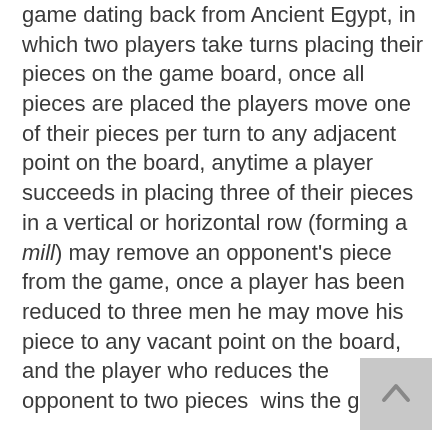game dating back from Ancient Egypt, in which two players take turns placing their pieces on the game board, once all pieces are placed the players move one of their pieces per turn to any adjacent point on the board, anytime a player succeeds in placing three of their pieces in a vertical or horizontal row (forming a mill) may remove an opponent's piece from the game, once a player has been reduced to three men he may move his piece to any vacant point on the board, and the player who reduces the opponent to two pieces  wins the game.
These leather Nine Men's Morris game pouch are made out of 100% reclaimed leather. This Nine Men's Morris pouch is completely self contained and extremely packable.
Perfect for camping and traveling, or playing at home, cleanup is literally a simple. When you're finished, you can...